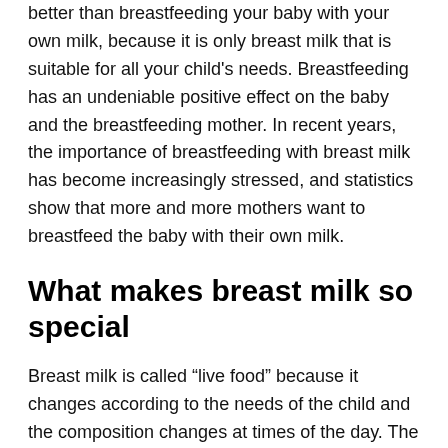better than breastfeeding your baby with your own milk, because it is only breast milk that is suitable for all your child's needs. Breastfeeding has an undeniable positive effect on the baby and the breastfeeding mother. In recent years, the importance of breastfeeding with breast milk has become increasingly stressed, and statistics show that more and more mothers want to breastfeed the baby with their own milk.
What makes breast milk so special
Breast milk is called “live food” because it changes according to the needs of the child and the composition changes at times of the day. The mother’s milk changes its properties during the lactation period and passes from the yellowish dense liquid with a rich nutritional composition to the colostrum, where it comes to its ripe form. In addition to nutrients that are important for a child’s development and growth, breast milk